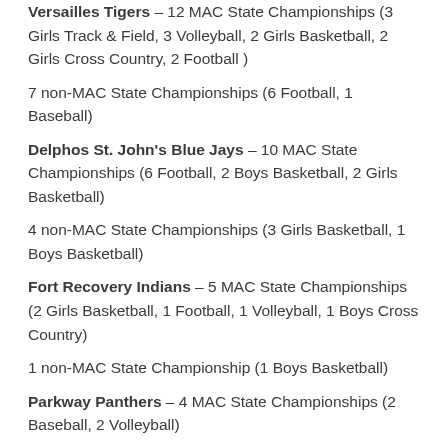Versailles Tigers – 12 MAC State Championships (3 Girls Track & Field, 3 Volleyball, 2 Girls Basketball, 2 Girls Cross Country, 2 Football )
7 non-MAC State Championships (6 Football, 1 Baseball)
Delphos St. John's Blue Jays – 10 MAC State Championships (6 Football, 2 Boys Basketball, 2 Girls Basketball)
4 non-MAC State Championships (3 Girls Basketball, 1 Boys Basketball)
Fort Recovery Indians – 5 MAC State Championships (2 Girls Basketball, 1 Football, 1 Volleyball, 1 Boys Cross Country)
1 non-MAC State Championship (1 Boys Basketball)
Parkway Panthers – 4 MAC State Championships (2 Baseball, 2 Volleyball)